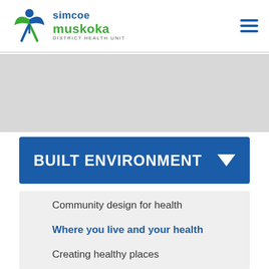simcoe muskoka DISTRICT HEALTH UNIT
[Figure (logo): Simcoe Muskoka District Health Unit logo with abstract figure and blue/green text]
BUILT ENVIRONMENT
Community design for health
Where you live and your health
Creating healthy places